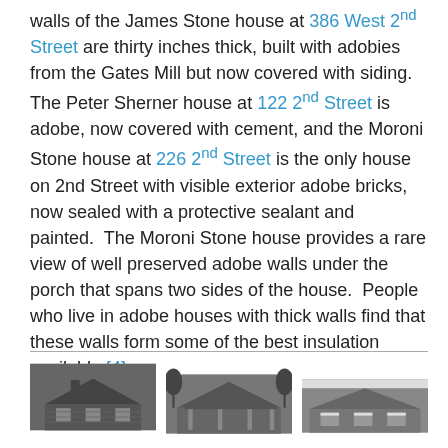walls of the James Stone house at 386 West 2nd Street are thirty inches thick, built with adobies from the Gates Mill but now covered with siding. The Peter Sherner house at 122 2nd Street is adobe, now covered with cement, and the Moroni Stone house at 226 2nd Street is the only house on 2nd Street with visible exterior adobe bricks, now sealed with a protective sealant and painted. The Moroni Stone house provides a rare view of well preserved adobe walls under the porch that spans two sides of the house. People who live in adobe houses with thick walls find that these walls form some of the best insulation available.[4]
[Figure (photo): Three black and white photographs of adobe houses side by side]